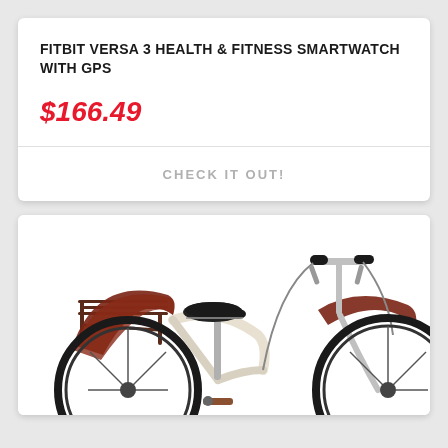FITBIT VERSA 3 HEALTH & FITNESS SMARTWATCH WITH GPS
$166.49
CHECK IT OUT!
[Figure (photo): Partial view of a cruiser bicycle showing the handlebars, saddle, rear rack, and fenders. The bike has a cream/white frame with dark brown/maroon fenders and a rear rack, black saddle and handlebar grips, and chrome components.]